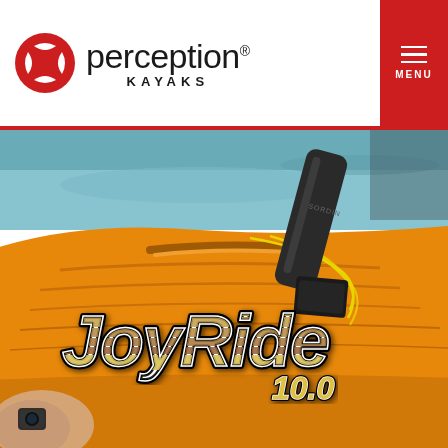[Figure (logo): Perception Kayaks logo with circular red geometric icon, brand name 'perception' in large light font, and 'KAYAKS' in bold spaced capitals below]
[Figure (photo): Close-up photo of an orange kayak deck with a black paddle holder/rod holder accessory and yellow bungee cords. A person's wrist with a watch is visible at lower left. The JoyRide 10.0 graphic logo is overlaid on the photo.]
JoyRide 10.0